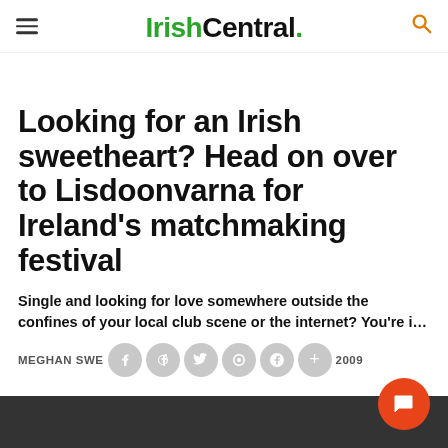IrishCentral.
Looking for an Irish sweetheart? Head on over to Lisdoonvarna for Ireland's matchmaking festival
Single and looking for love somewhere outside the confines of your local club scene or the internet? You're i…
MEGHAN SWEENEY · IrishCentral · Aug 8, 2009